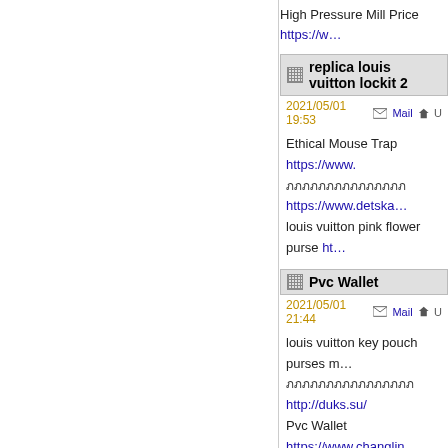High Pressure Mill Price https://w...
replica louis vuitton lockit 2
2021/05/01 19:53  Mail  U
Ethical Mouse Trap https://www. ฀0฀0฀0฀0฀0฀0฀0฀0฀0฀0฀0฀0฀0฀0฀0 https://www.detska... louis vuitton pink flower purse ht...
Pvc Wallet
2021/05/01 21:44  Mail  U
louis vuitton key pouch purses m... ฀0฀0฀0฀0฀0฀0฀0฀0฀0฀0฀0฀0฀0฀0฀0฀0 http://duks.su/ Pvc Wallet https://www.changlin...
cheap air jordan 5 retro ragi...
2021/05/01 23:34  Mail  U
Canned Green Beans Productio... N฀0฀0฀0฀0฀0฀0฀0฀0฀0฀0฀0฀0 https://www.dolphin... cheap rare air jordan gear http://...